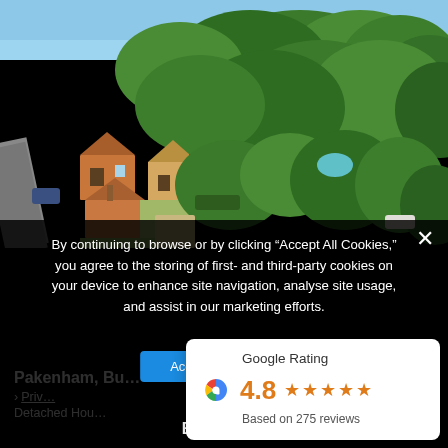[Figure (photo): Aerial view of residential properties in Pakenham, Bury St Edmunds. Red-roofed detached houses surrounded by dense green trees, with a road visible to the left side.]
By continuing to browse or by clicking “Accept All Cookies,” you agree to the storing of first- and third-party cookies on your device to enhance site navigation, analyse site usage, and assist in our marketing efforts.
Pakenham, Bu…
› Priv…
Detached Hou…
Bathrooms
[Figure (logo): Google Rating widget showing Google G logo, rating of 4.8 with 5 orange stars, and 'Based on 275 reviews' text.]